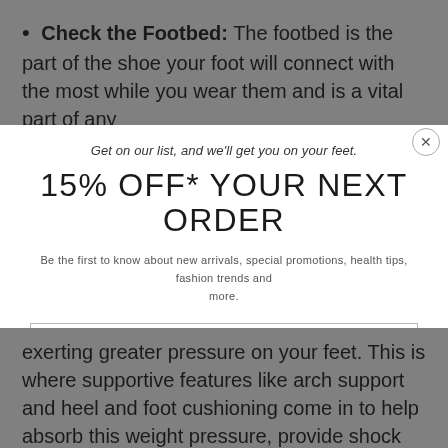Check the Footbed: The footbed is the part of the shoe your foot will connect with the most while you wear them and is a vital part of any
Get on our list, and we'll get you on your feet.
15% OFF* YOUR NEXT ORDER
Be the first to know about new arrivals, special promotions, health tips, fashion trends and more.
Your email
subscribe
*Certain exclusions apply. 15% off coupon excludes all sale and final sale items.
exerting greater pressure on your feet. This is where supportive features like arch support and heel and foot cushioning come in to help absorb this weight pressure, provide shock absorption